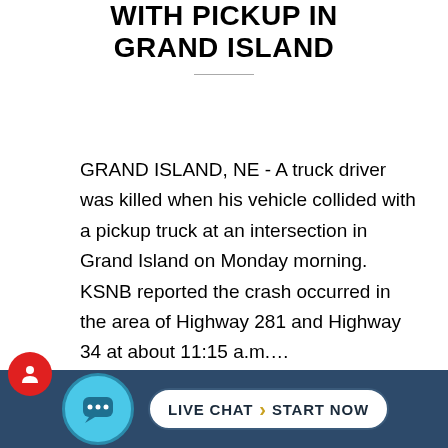WITH PICKUP IN GRAND ISLAND
GRAND ISLAND, NE - A truck driver was killed when his vehicle collided with a pickup truck at an intersection in Grand Island on Monday morning. KSNB reported the crash occurred in the area of Highway 281 and Highway 34 at about 11:15 a.m.…
January 5, 2021
[Figure (photo): Partial view of a vehicle, blurred background, with a live chat overlay bar at the bottom showing a chat icon and a 'LIVE CHAT > START NOW' button on a dark blue background]